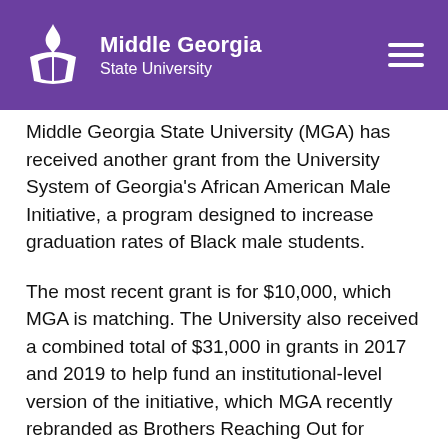Middle Georgia State University
Middle Georgia State University (MGA) has received another grant from the University System of Georgia's African American Male Initiative, a program designed to increase graduation rates of Black male students.
The most recent grant is for $10,000, which MGA is matching. The University also received a combined total of $31,000 in grants in 2017 and 2019 to help fund an institutional-level version of the initiative, which MGA recently rebranded as Brothers Reaching Out for Success, or BROS.
"Statistically, Black males are the least likely to complete college degrees," said Dr. Corey Guyton, MGA's director of